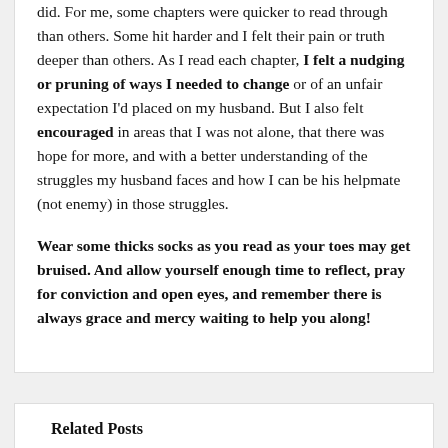did. For me, some chapters were quicker to read through than others. Some hit harder and I felt their pain or truth deeper than others. As I read each chapter, I felt a nudging or pruning of ways I needed to change or of an unfair expectation I'd placed on my husband. But I also felt encouraged in areas that I was not alone, that there was hope for more, and with a better understanding of the struggles my husband faces and how I can be his helpmate (not enemy) in those struggles.
Wear some thicks socks as you read as your toes may get bruised. And allow yourself enough time to reflect, pray for conviction and open eyes, and remember there is always grace and mercy waiting to help you along!
Related Posts